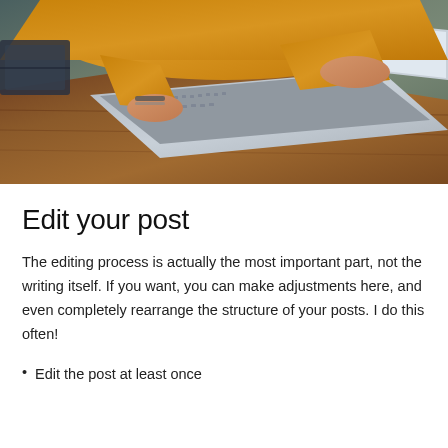[Figure (photo): Person wearing a mustard yellow sweater with bracelets, typing on a silver laptop computer placed on a wooden desk. View is from above at an angle, showing hands on keyboard.]
Edit your post
The editing process is actually the most important part, not the writing itself. If you want, you can make adjustments here, and even completely rearrange the structure of your posts. I do this often!
Edit the post at least once